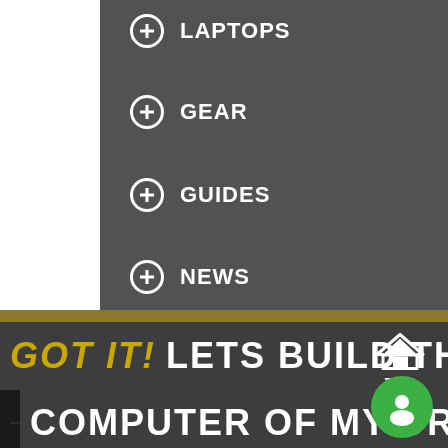LAPTOPS
GEAR
GUIDES
NEWS
GOT IT! LETS BUILD THE COMPUTER OF MY DREAMS!
[Figure (screenshot): TOP navigation button with house/arrow icon]
[Figure (other): Green circular chat bubble icon]